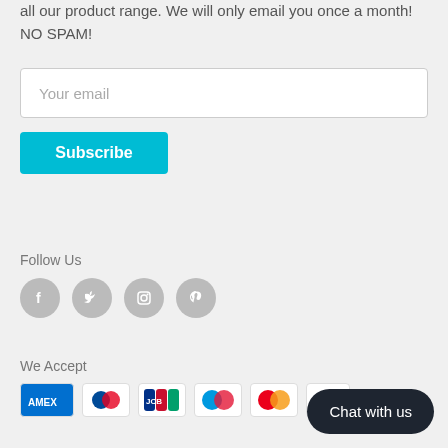all our product range. We will only email you once a month! NO SPAM!
[Figure (screenshot): Email input field with placeholder text 'Your email']
[Figure (screenshot): Cyan 'Subscribe' button]
Follow Us
[Figure (infographic): Four gray circular social media icons: Facebook, Twitter, Instagram, Pinterest]
We Accept
[Figure (infographic): Payment method icons: Amex, Diners Club, JCB, Maestro, Mastercard, PayPal (partial)]
[Figure (screenshot): Dark rounded 'Chat with us' button in bottom right corner]